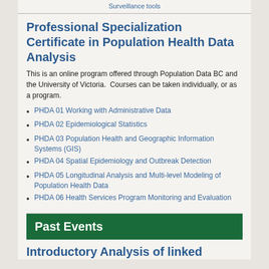Surveillance tools
Professional Specialization Certificate in Population Health Data Analysis
This is an online program offered through Population Data BC and the University of Victoria.  Courses can be taken individually, or as a program.
PHDA 01 Working with Administrative Data
PHDA 02 Epidemiological Statistics
PHDA 03 Population Health and Geographic Information Systems (GIS)
PHDA 04 Spatial Epidemiology and Outbreak Detection
PHDA 05 Longitudinal Analysis and Multi-level Modeling of Population Health Data
PHDA 06 Health Services Program Monitoring and Evaluation
Past Events
Introductory Analysis of linked...